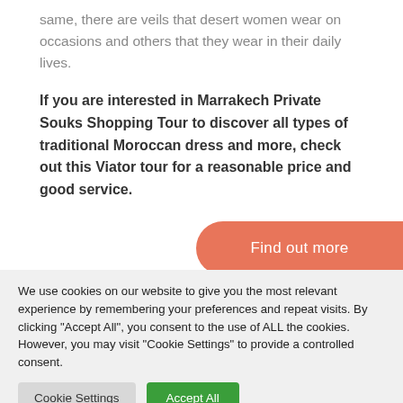same, there are veils that desert women wear on occasions and others that they wear in their daily lives.
If you are interested in Marrakech Private Souks Shopping Tour to discover all types of traditional Moroccan dress and more, check out this Viator tour for a reasonable price and good service.
Find out more
We use cookies on our website to give you the most relevant experience by remembering your preferences and repeat visits. By clicking "Accept All", you consent to the use of ALL the cookies. However, you may visit "Cookie Settings" to provide a controlled consent.
Cookie Settings
Accept All